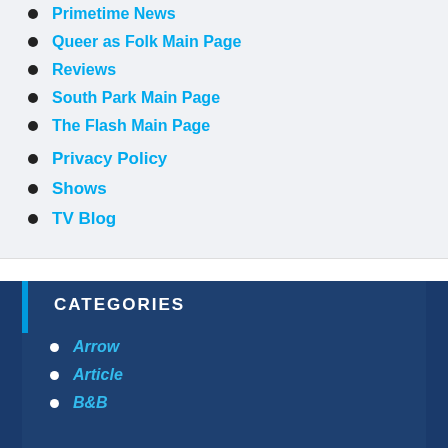Primetime News
Queer as Folk Main Page
Reviews
South Park Main Page
The Flash Main Page
Privacy Policy
Shows
TV Blog
CATEGORIES
Arrow
Article
B&B